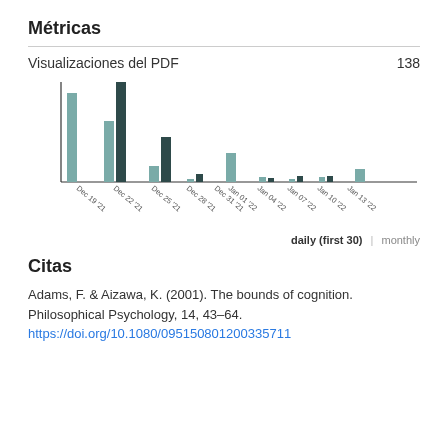Métricas
Visualizaciones del PDF   138
[Figure (bar-chart): PDF views daily (first 30)]
daily (first 30)  |  monthly
Citas
Adams, F. & Aizawa, K. (2001). The bounds of cognition. Philosophical Psychology, 14, 43–64.
https://doi.org/10.1080/095150801200335711